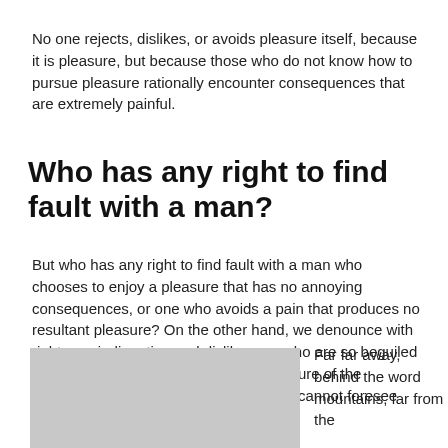No one rejects, dislikes, or avoids pleasure itself, because it is pleasure, but because those who do not know how to pursue pleasure rationally encounter consequences that are extremely painful.
Who has any right to find fault with a man?
But who has any right to find fault with a man who chooses to enjoy a pleasure that has no annoying consequences, or one who avoids a pain that produces no resultant pleasure? On the other hand, we denounce with righteous indignation and dislike men who are so beguiled and demoralized by the charms of pleasure of the moment, so blinded by desire, that they cannot foresee
[Figure (photo): Gray placeholder image rectangle]
Far far away, behind the word mountains, far from the